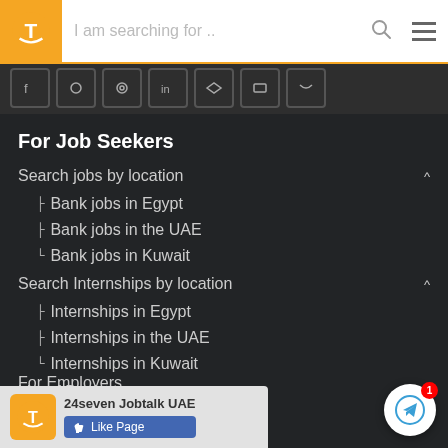I am searching for ..
For Job Seekers
Search jobs by location
Bank jobs in Egypt
Bank jobs in the UAE
Bank jobs in Kuwait
Search Internships by location
Internships in Egypt
Internships in the UAE
Internships in Kuwait
List of Banks
Brwose Articles
GPA Calculator
For Employers
[Figure (screenshot): Advertisement overlay: 24seven Jobtalk UAE Facebook Like Page widget with orange logo]
[Figure (other): Telegram notification button with red badge showing '1']